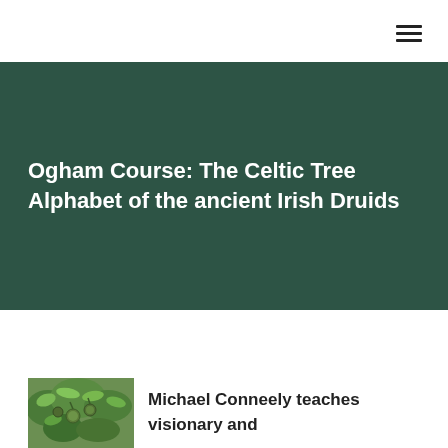Ogham Course: The Celtic Tree Alphabet of the ancient Irish Druids
[Figure (photo): Close-up photo of green leaves and round fruits/nuts on a branch, likely depicting a tree associated with the Ogham alphabet]
Michael Conneely teaches visionary and